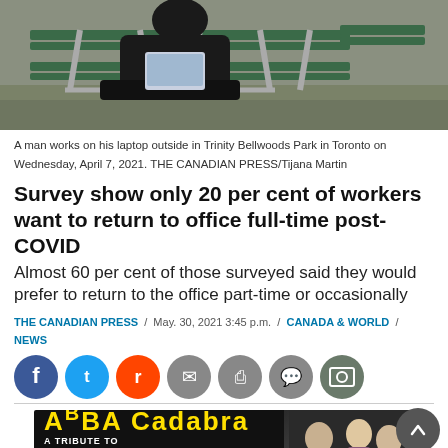[Figure (photo): A man works on his laptop outside at a park bench in Trinity Bellwoods Park in Toronto]
A man works on his laptop outside in Trinity Bellwoods Park in Toronto on Wednesday, April 7, 2021. THE CANADIAN PRESS/Tijana Martin
Survey show only 20 per cent of workers want to return to office full-time post-COVID
Almost 60 per cent of those surveyed said they would prefer to return to the office part-time or occasionally
THE CANADIAN PRESS / May. 30, 2021 3:45 p.m. / CANADA & WORLD / NEWS
[Figure (infographic): Social sharing buttons: Facebook, Twitter, Reddit, Email, Print, Comment, Photo]
[Figure (photo): ABBACadabra - A Tribute to the Music of ABBA advertisement banner]